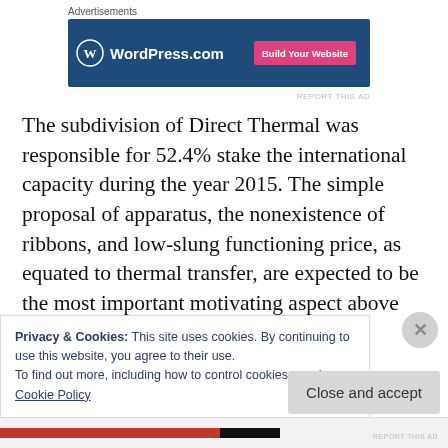Advertisements
[Figure (other): WordPress.com advertisement banner with blue background, WordPress logo, and pink 'Build Your Website' button]
The subdivision of Direct Thermal was responsible for 52.4% stake the international capacity during the year 2015. The simple proposal of apparatus, the nonexistence of ribbons, and low-slung functioning price, as equated to thermal transfer, are expected to be the most important motivating aspect above
Privacy & Cookies: This site uses cookies. By continuing to use this website, you agree to their use.
To find out more, including how to control cookies, see here:
Cookie Policy